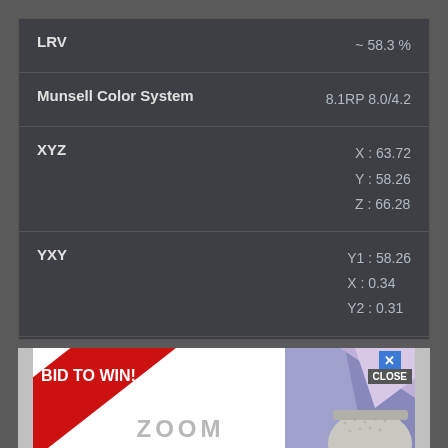| Property | Value |
| --- | --- |
| LRV | ~ 58.3 % |
| Munsell Color System | 8.1RP 8.0/4.2 |
| XYZ | X : 63.72
Y : 58.26
Z : 66.28 |
| YXY | Y1 : 58.26
X : 0.34
Y2 : 0.31 |
| CMY | C : 7.45%
M : 26.27%
Y : 19.22% |
[Figure (screenshot): Advertisement banner with 'BID TO WIN!' diagonal red ribbon on white background, 'ZOOM' text below, and a geometric purple/blue pattern with a person wearing a knit hat on the right side. A close button (X / CLOSE) appears at the top right of the ad.]